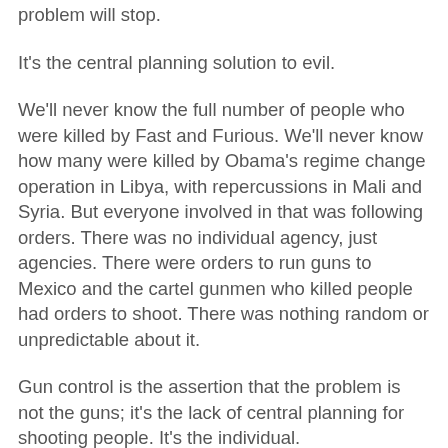problem will stop.
It's the central planning solution to evil.
We'll never know the full number of people who were killed by Fast and Furious. We'll never know how many were killed by Obama's regime change operation in Libya, with repercussions in Mali and Syria. But everyone involved in that was following orders. There was no individual agency, just agencies. There were orders to run guns to Mexico and the cartel gunmen who killed people had orders to shoot. There was nothing random or unpredictable about it.
Gun control is the assertion that the problem is not the guns; it's the lack of central planning for shooting people. It's the individual.
A few million people with little sleep, taut nerves and PTSD are not a problem so long as there is someone to give them orders. A hundred million people with guns and no orders are a major problem. Historically though it's millions of people with guns who follow orders who have been more of a